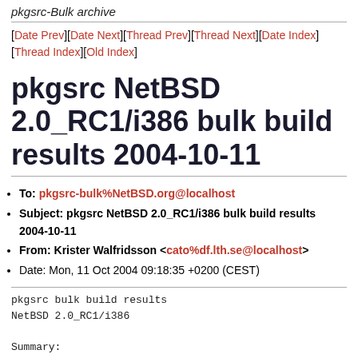pkgsrc-Bulk archive
[Date Prev][Date Next][Thread Prev][Thread Next][Date Index][Thread Index][Old Index]
pkgsrc NetBSD 2.0_RC1/i386 bulk build results 2004-10-11
To: pkgsrc-bulk%NetBSD.org@localhost
Subject: pkgsrc NetBSD 2.0_RC1/i386 bulk build results 2004-10-11
From: Krister Walfridsson <cato%df.lth.se@localhost>
Date: Mon, 11 Oct 2004 09:18:35 +0200 (CEST)
pkgsrc bulk build results
NetBSD 2.0_RC1/i386

Summary: